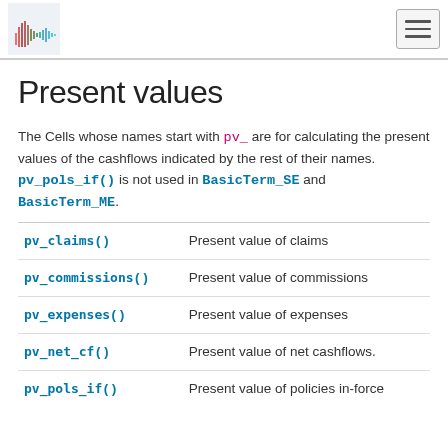[logo] [hamburger menu]
Present values
The Cells whose names start with pv_ are for calculating the present values of the cashflows indicated by the rest of their names. pv_pols_if() is not used in BasicTerm_SE and BasicTerm_ME.
| Function | Description |
| --- | --- |
| pv_claims() | Present value of claims |
| pv_commissions() | Present value of commissions |
| pv_expenses() | Present value of expenses |
| pv_net_cf() | Present value of net cashflows. |
| pv_pols_if() | Present value of policies in-force |